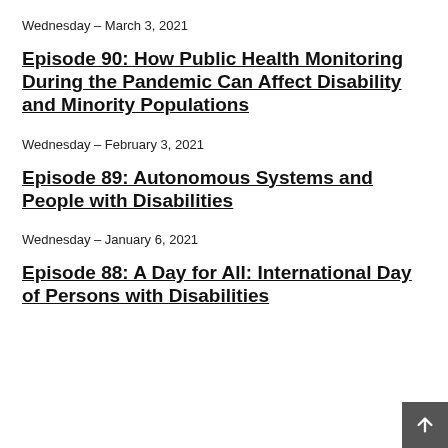Wednesday – March 3, 2021
Episode 90: How Public Health Monitoring During the Pandemic Can Affect Disability and Minority Populations
Wednesday – February 3, 2021
Episode 89: Autonomous Systems and People with Disabilities
Wednesday – January 6, 2021
Episode 88: A Day for All: International Day of Persons with Disabilities